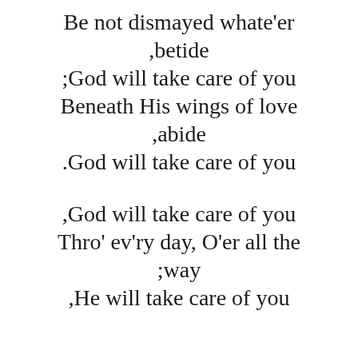Be not dismayed whate'er ,betide ;God will take care of you Beneath His wings of love ,abide .God will take care of you
,God will take care of you Thro' ev'ry day, O'er all the ;way ,He will take care of you